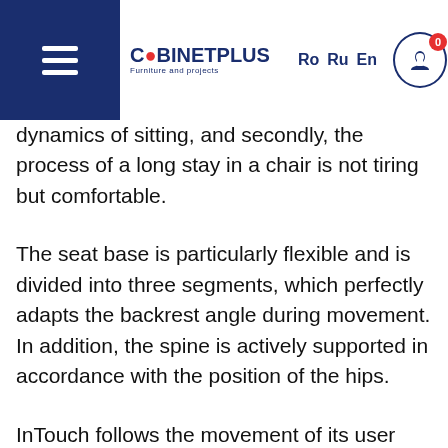CABINET PLUS — Furniture and projects | Ro Ru En | TEST DRIVE
dynamics of sitting, and secondly, the process of a long stay in a chair is not tiring but comfortable.
The seat base is particularly flexible and is divided into three segments, which perfectly adapts the backrest angle during movement. In addition, the spine is actively supported in accordance with the position of the hips.
InTouch follows the movement of its user with a three-piece seat and backrest that is modeled according to body shape. Thus